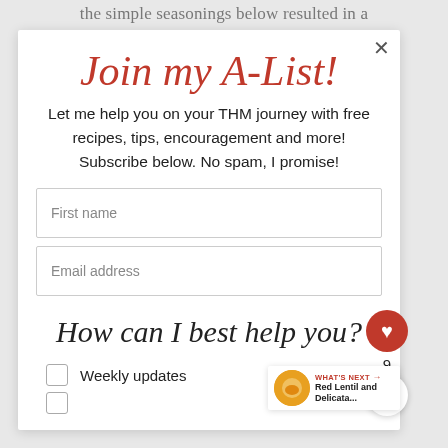the simple seasonings below resulted in a
Join my A-List!
Let me help you on your THM journey with free recipes, tips, encouragement and more! Subscribe below. No spam, I promise!
First name
Email address
How can I best help you?
Weekly updates